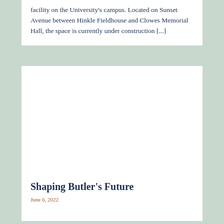facility on the University's campus. Located on Sunset Avenue between Hinkle Fieldhouse and Clowes Memorial Hall, the space is currently under construction [...]
[Figure (photo): White rectangular area representing a photo placeholder for the Shaping Butler's Future article]
Shaping Butler's Future
June 6, 2022